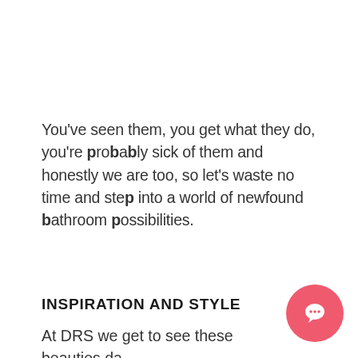You've seen them, you get what they do, you're probably sick of them and honestly we are too, so let's waste no time and step into a world of newfound bathroom possibilities.
INSPIRATION AND STYLE
At DRS we get to see these beauties day out in our showroom and on our
[Figure (illustration): Pink/coral circular chat button with white speech bubble icon in bottom right corner]